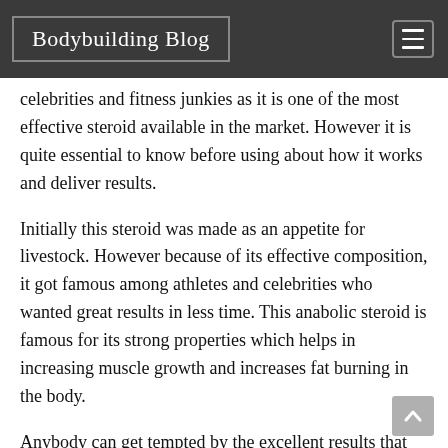Bodybuilding Blog
celebrities and fitness junkies as it is one of the most effective steroid available in the market. However it is quite essential to know before using about how it works and deliver results.
Initially this steroid was made as an appetite for livestock. However because of its effective composition, it got famous among athletes and celebrities who wanted great results in less time. This anabolic steroid is famous for its strong properties which helps in increasing muscle growth and increases fat burning in the body.
Anybody can get tempted by the excellent results that trenbolone is meant to deliver but it is essential to understand its work in our body and the side effects it